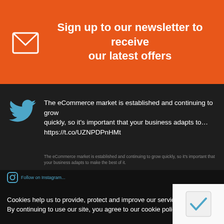Sign up to our newsletter to receive our latest offers
The eCommerce market is established and continuing to grow quickly, so it's important that your business adapts to… https://t.co/UZNPDPnHMt
The eCommerce market is established and continuing to grow quickly, so it's important that your business adapts to make the best of it.
Planning and organisation is essential and at Advanced Handling & Storage we have the experience and knowledge to help you get up and running.

Read more in our latest blog post #

bit.ly/3STVC5g
Cookies help us to provide, protect and improve our services. By continuing to use our site, you agree to our cookie policy. ✕